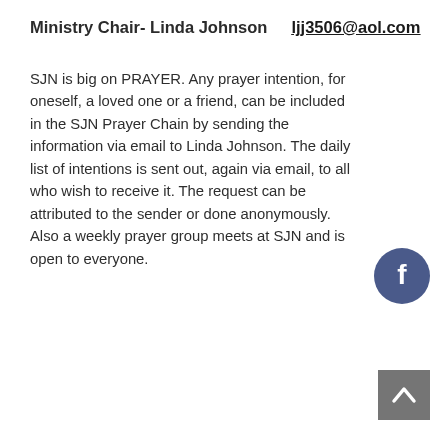Ministry Chair- Linda Johnson    ljj3506@aol.com
SJN is big on PRAYER. Any prayer intention, for oneself, a loved one or a friend, can be included in the SJN Prayer Chain by sending the information via email to Linda Johnson. The daily list of intentions is sent out, again via email, to all who wish to receive it. The request can be attributed to the sender or done anonymously. Also a weekly prayer group meets at SJN and is open to everyone.
[Figure (logo): Facebook circular icon button in dark blue/indigo color]
[Figure (other): Back to top button - grey square with white upward chevron arrow]